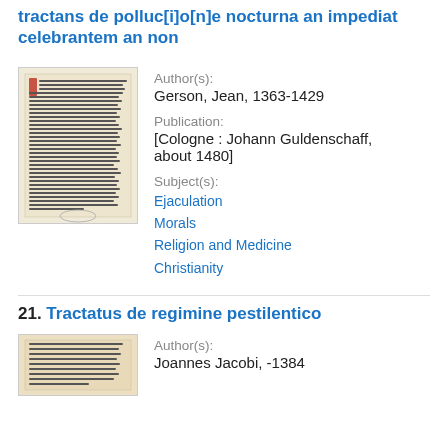Johannis Gerson cancellarii Parisiensis tractans de polluc[i]o[n]e nocturna an impediat celebrantem an non
[Figure (photo): Thumbnail of a manuscript page with Latin text and a decorated initial letter in red]
Author(s):
Gerson, Jean, 1363-1429
Publication:
[Cologne : Johann Guldenschaff, about 1480]
Subject(s):
Ejaculation
Morals
Religion and Medicine
Christianity
21. Tractatus de regimine pestilentico
[Figure (photo): Thumbnail of a manuscript page with Latin text]
Author(s):
Joannes Jacobi, -1384